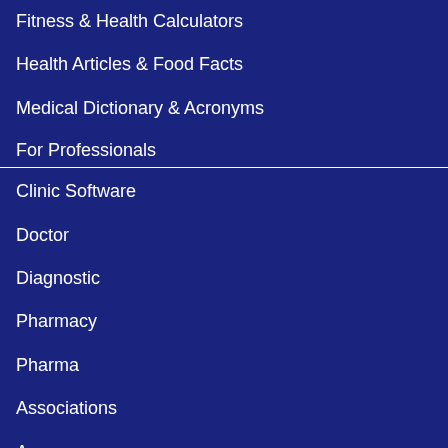Fitness & Health Calculators
Health Articles & Food Facts
Medical Dictionary & Acronyms
For Professionals
Clinic Software
Doctor
Diagnostic
Pharmacy
Pharma
Associations
Agency
Drlogy
About Us